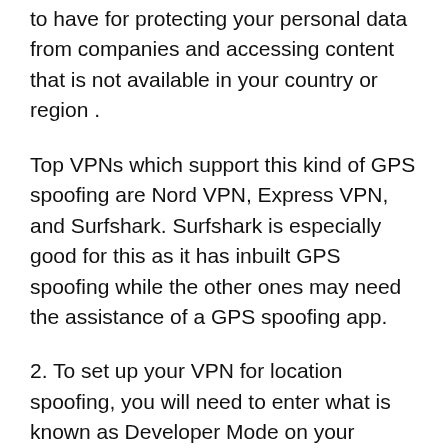to have for protecting your personal data from companies and accessing content that is not available in your country or region .
Top VPNs which support this kind of GPS spoofing are Nord VPN, Express VPN, and Surfshark. Surfshark is especially good for this as it has inbuilt GPS spoofing while the other ones may need the assistance of a GPS spoofing app.
2. To set up your VPN for location spoofing, you will need to enter what is known as Developer Mode on your phone. This is done by going to the About Phone section of your settings and tapping the build number of the phone seven times. New options should now appear in the settings one of which titled Developer Settings. Enter this menu and select the Allow Mock Locations option and select your VPN as your mock